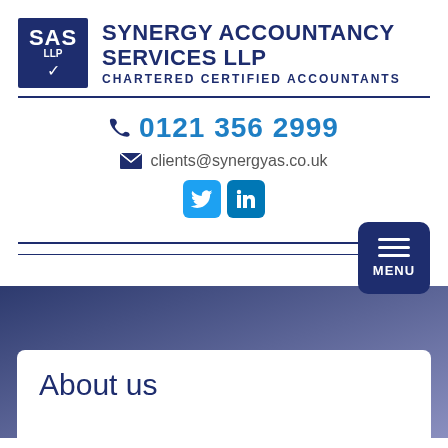[Figure (logo): SAS LLP logo — dark navy square with white text SAS and LLP and a checkmark]
SYNERGY ACCOUNTANCY SERVICES LLP
CHARTERED CERTIFIED ACCOUNTANTS
0121 356 2999
clients@synergyas.co.uk
[Figure (logo): Twitter and LinkedIn social media icons]
[Figure (infographic): Navigation bar with MENU button]
About us